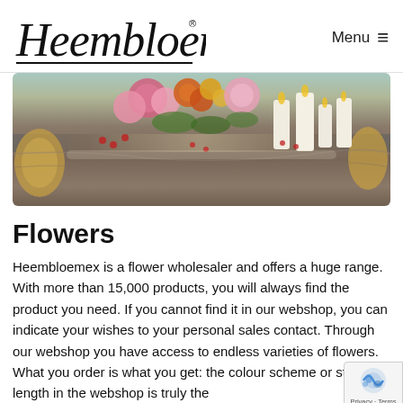Heembloemex® Menu ≡
[Figure (photo): Decorative floral arrangement on an ornate surface with colorful flowers including pink peonies, orange and red blooms, with white candles and gold decorative elements.]
Flowers
Heembloemex is a flower wholesaler and offers a huge range. With more than 15,000 products, you will always find the product you need. If you cannot find it in our webshop, you can indicate your wishes to your personal sales contact. Through our webshop you have access to endless varieties of flowers. What you order is what you get: the colour scheme or stem length in the webshop is truly the